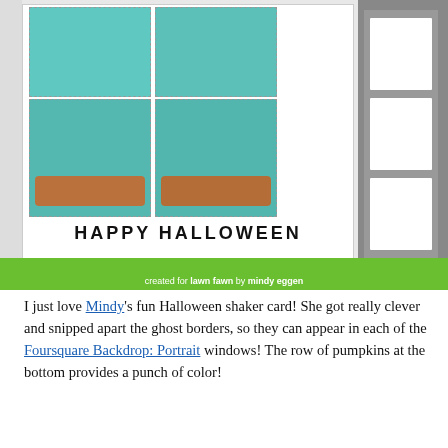[Figure (photo): A Halloween shaker card featuring four teal windows in a Foursquare Backdrop: Portrait layout. The windows contain cute ghost stickers and orange pumpkins. Text at the bottom reads HAPPY HALLOWEEN. The image includes craft supplies like Copic markers on the left and gray die-cut frames on the right. A green grass border strip at the bottom reads 'created for lawn fawn by mindy eggen'.]
I just love Mindy's fun Halloween shaker card! She got really clever and snipped apart the ghost borders, so they can appear in each of the Foursquare Backdrop: Portrait windows! The row of pumpkins at the bottom provides a punch of color!